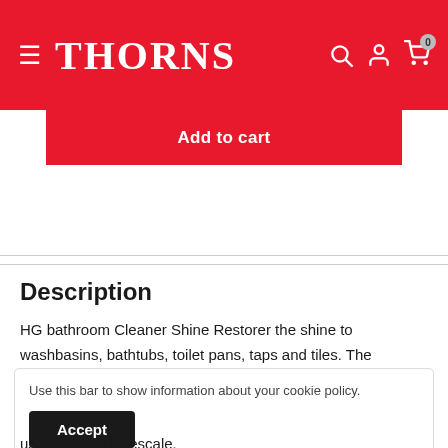THORNS
Add to cart
Description
HG bathroom Cleaner Shine Restorer the shine to washbasins, bathtubs, toilet pans, taps and tiles. The sanitary
Use this bar to show information about your cookie policy.
Accept
use prevents limescale.